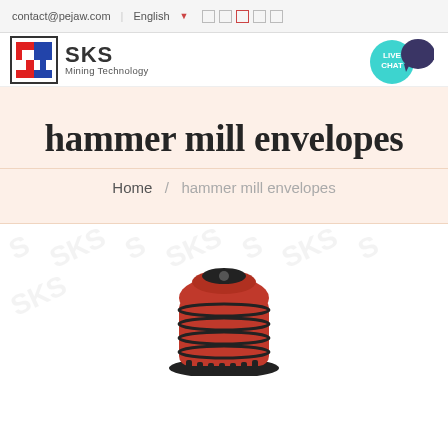contact@pejaw.com  English
[Figure (logo): SKS Mining Technology logo with red and blue arrow icon]
[Figure (illustration): Live Chat bubble icon in teal with dark speech bubble]
hammer mill envelopes
Home / hammer mill envelopes
[Figure (photo): Red and black hammer mill machine component photo with SKS watermark]